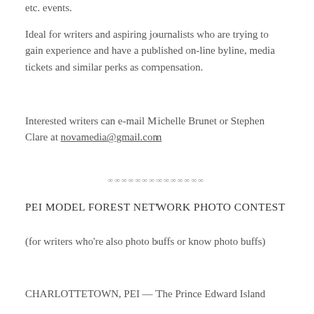etc. events.
Ideal for writers and aspiring journalists who are trying to gain experience and have a published on-line byline, media tickets and similar perks as compensation.
Interested writers can e-mail Michelle Brunet or Stephen Clare at novamedia@gmail.com
∞∞∞∞∞∞∞∞∞∞∞∞
PEI MODEL FOREST NETWORK PHOTO CONTEST
(for writers who're also photo buffs or know photo buffs)
CHARLOTTETOWN, PEI — The Prince Edward Island Model Forest Network is working to bring about